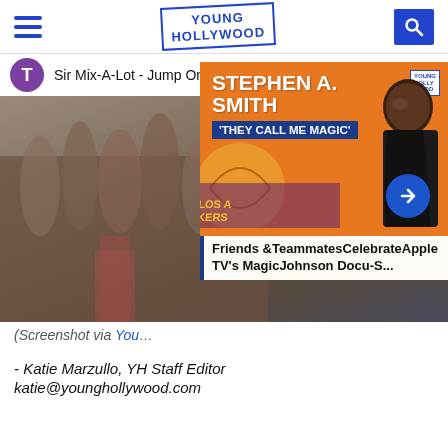Young Hollywood
[Figure (screenshot): Screenshot of a YouTube video titled 'Sir Mix-A-Lot - Jump On It' with a purple avatar showing 'T', overlaid by a Young Hollywood promotional card for Stephen A. Smith and 'They Call Me Magic' Apple TV documentary, featuring a white box with text 'Friends &TeammmatesCelebrateApple TV's MagicJohnson Docu-S...']
(Screenshot via You...
- Katie Marzullo, YH Staff Editor
katie@younghollywood.com